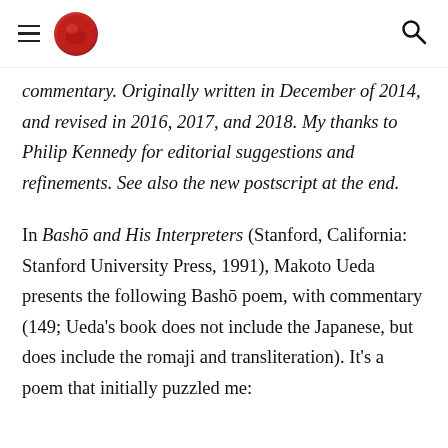[Navigation header with hamburger menu, logo, and search icon]
commentary. Originally written in December of 2014, and revised in 2016, 2017, and 2018. My thanks to Philip Kennedy for editorial suggestions and refinements. See also the new postscript at the end.
In Bashō and His Interpreters (Stanford, California: Stanford University Press, 1991), Makoto Ueda presents the following Bashō poem, with commentary (149; Ueda's book does not include the Japanese, but does include the romaji and transliteration). It's a poem that initially puzzled me: